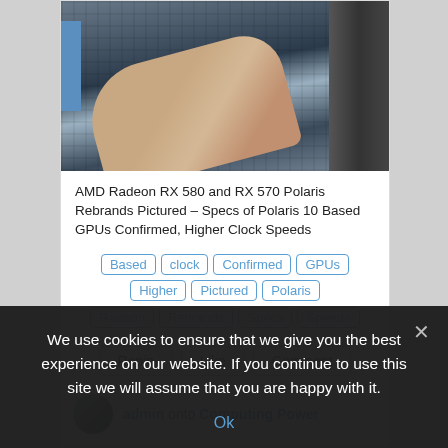[Figure (photo): Hand holding an AMD GPU/PCIe card showing the circuit board, with blue strip on left and fan on right]
AMD Radeon RX 580 and RX 570 Polaris Rebrands Pictured – Specs of Polaris 10 Based GPUs Confirmed, Higher Clock Speeds
Based
clock
Confirmed
GPUs
Higher
Pictured
Polaris
Radeon
Rebrands
Specs
Speeds
Repin   Like   Comment
admin onto Computing Power
We use cookies to ensure that we give you the best experience on our website. If you continue to use this site we will assume that you are happy with it.
Ok